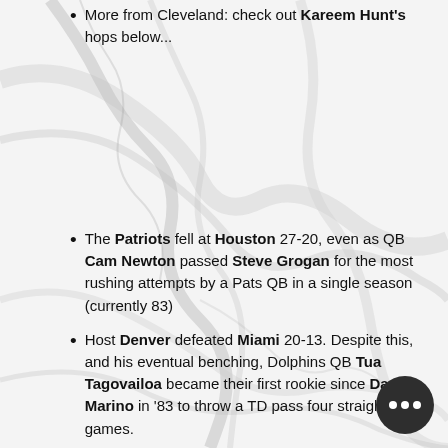More from Cleveland: check out Kareem Hunt's hops below...
[Figure (photo): Marble texture background (white and grey veined marble)]
The Patriots fell at Houston 27-20, even as QB Cam Newton passed Steve Grogan for the most rushing attempts by a Pats QB in a single season (currently 83)
Host Denver defeated Miami 20-13. Despite this, and his eventual benching, Dolphins QB Tua Tagovailoa became their first rookie since Dan Marino in '83 to throw a TD pass four straight games.
In Los Angeles, the Chargers beat the Jets 34-28, despite New York RB